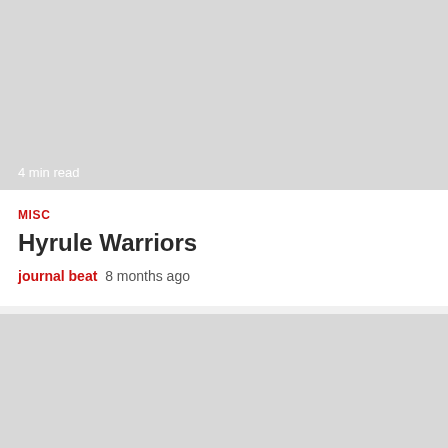[Figure (photo): Gray placeholder image for first article with '4 min read' label at bottom left]
4 min read
MISC
Hyrule Warriors
journal beat   8 months ago
[Figure (photo): Gray placeholder image for second article with '5 min read' label at bottom left and red back-to-top button at bottom right]
5 min read
MISC
20 Best Farm Subtitles For Instagram